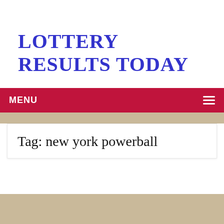LOTTERY RESULTS TODAY
MENU ≡
Tag: new york powerball